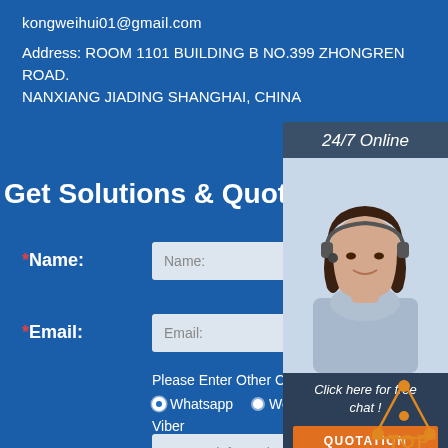kongweihui01@gmail.com
Address: ROOM 1101 BUILDING B NO.399 ZHONGREN ROAD. NANXIANG JIADING SHANGHAI, CHINA
Get Solutions & Quotation
*Name:
*Email:
Please Enter Other Contact Information
Whatsapp
Wechat
Skype
Viber
Contact information Whatsapp
24/7 Online
Click here for free chat !
QUOTATION